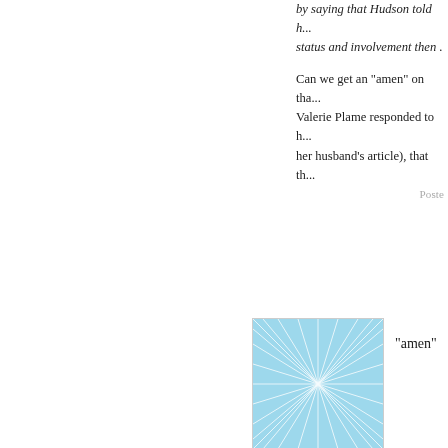by saying that Hudson told h... status and involvement then...
Can we get an "amen" on tha... Valerie Plame responded to h... her husband's article), that th...
Posted
[Figure (illustration): Light blue square avatar with white web/network line pattern]
"amen"
Poste
[Figure (illustration): Dark green square avatar with circular spiral pattern]
Say it Preacher!
Posted
[Figure (illustration): Red/coral square avatar with white petal/burst line pattern]
amen amen...
[Figure (illustration): Teal/green square avatar with grid/fan pattern]
rflanagan, 1-9 are relevant wh... the grand jury he is guilty per...